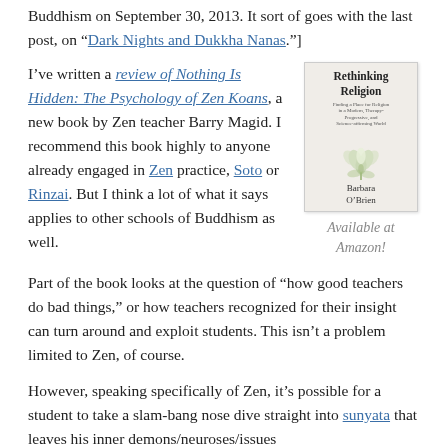Buddhism on September 30, 2013. It sort of goes with the last post, on “Dark Nights and Dukkha Nanas.”]
I’ve written a review of Nothing Is Hidden: The Psychology of Zen Koans, a new book by Zen teacher Barry Magid. I recommend this book highly to anyone already engaged in Zen practice, Soto or Rinzai. But I think a lot of what it says applies to other schools of Buddhism as well.
[Figure (illustration): Book cover of 'Rethinking Religion' by Barbara O'Brien, with a lotus flower illustration]
Available at Amazon!
Part of the book looks at the question of “how good teachers do bad things,” or how teachers recognized for their insight can turn around and exploit students. This isn’t a problem limited to Zen, of course.
However, speaking specifically of Zen, it’s possible for a student to take a slam-bang nose dive straight into sunyata that leaves his inner demons/neuroses/issues